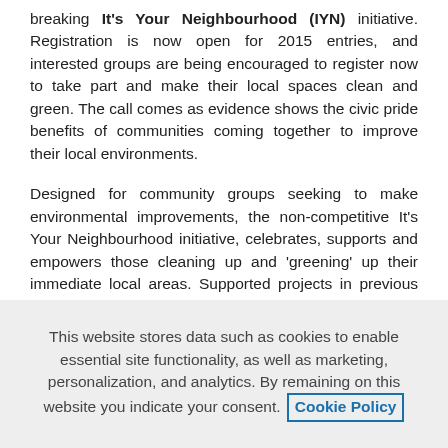breaking It's Your Neighbourhood (IYN) initiative. Registration is now open for 2015 entries, and interested groups are being encouraged to register now to take part and make their local spaces clean and green. The call comes as evidence shows the civic pride benefits of communities coming together to improve their local environments.
Designed for community groups seeking to make environmental improvements, the non-competitive It's Your Neighbourhood initiative, celebrates, supports and empowers those cleaning up and 'greening' up their immediate local areas. Supported projects in previous years have sought to improve local streets, patches of communal neglected land, and shared outdoor spaces.
This website stores data such as cookies to enable essential site functionality, as well as marketing, personalization, and analytics. By remaining on this website you indicate your consent. Cookie Policy